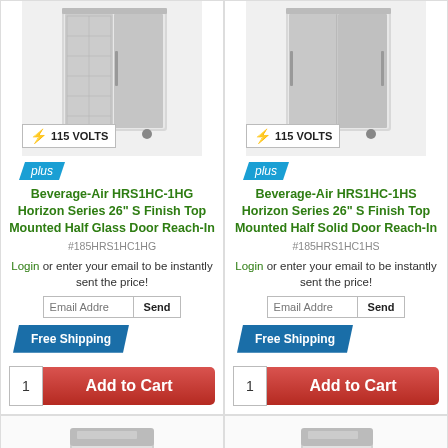[Figure (photo): Beverage-Air HRS1HC-1HG stainless steel reach-in refrigerator with half glass door, 115 VOLTS badge]
Beverage-Air HRS1HC-1HG Horizon Series 26" S Finish Top Mounted Half Glass Door Reach-In
#185HRS1HC1HG
Login or enter your email to be instantly sent the price!
[Figure (photo): Beverage-Air HRS1HC-1HS stainless steel reach-in refrigerator with half solid door, 115 VOLTS badge]
Beverage-Air HRS1HC-1HS Horizon Series 26" S Finish Top Mounted Half Solid Door Reach-In
#185HRS1HC1HS
Login or enter your email to be instantly sent the price!
[Figure (photo): Stainless steel single solid door reach-in refrigerator]
[Figure (photo): Stainless steel single glass door reach-in refrigerator]